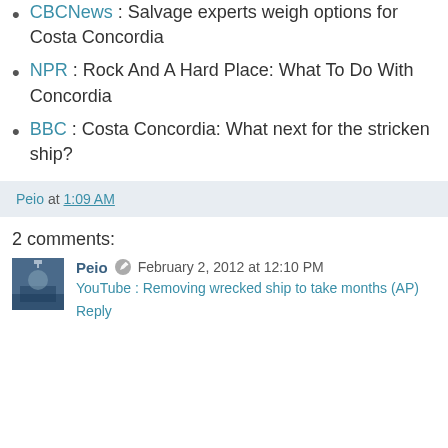CBCNews : Salvage experts weigh options for Costa Concordia
NPR : Rock And A Hard Place: What To Do With Concordia
BBC : Costa Concordia: What next for the stricken ship?
Peio at 1:09 AM
2 comments:
Peio February 2, 2012 at 12:10 PM
YouTube : Removing wrecked ship to take months (AP)
Reply